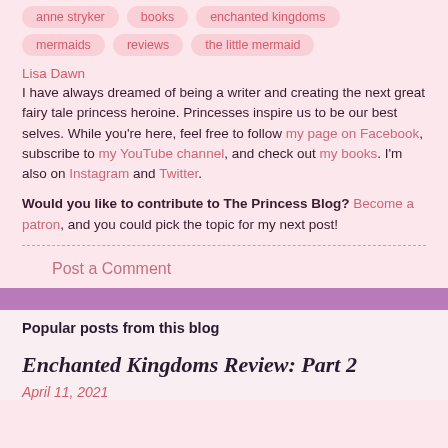anne stryker
books
enchanted kingdoms
mermaids
reviews
the little mermaid
Lisa Dawn
I have always dreamed of being a writer and creating the next great fairy tale princess heroine. Princesses inspire us to be our best selves. While you're here, feel free to follow my page on Facebook, subscribe to my YouTube channel, and check out my books. I'm also on Instagram and Twitter.
Would you like to contribute to The Princess Blog? Become a patron, and you could pick the topic for my next post!
Post a Comment
Popular posts from this blog
Enchanted Kingdoms Review: Part 2
April 11, 2021